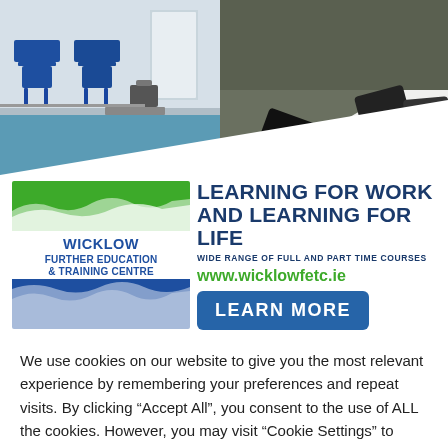[Figure (photo): Photo banner split into two halves: left shows blue chairs in a classroom/waiting room with blue flooring; right shows people's hands around a white table in a meeting or discussion setting. A white diagonal overlay at the bottom transitions to the ad banner below.]
[Figure (logo): Wicklow Further Education & Training Centre logo: green rectangle at top with white wave design, blue rectangle at bottom with white wave, and blue text reading WICKLOW FURTHER EDUCATION & TRAINING CENTRE in the center.]
LEARNING FOR WORK AND LEARNING FOR LIFE
WIDE RANGE OF FULL AND PART TIME COURSES
www.wicklowfetc.ie
LEARN MORE
We use cookies on our website to give you the most relevant experience by remembering your preferences and repeat visits. By clicking “Accept All”, you consent to the use of ALL the cookies. However, you may visit “Cookie Settings” to provide a controlled consent.
Cookie Settings
Accept All